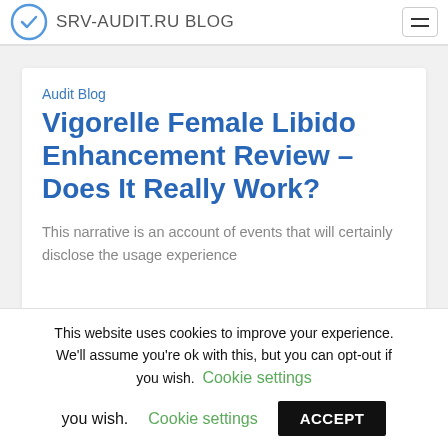SRV-AUDIT.RU BLOG
Audit Blog
Vigorelle Female Libido Enhancement Review – Does It Really Work?
This narrative is an account of events that will certainly disclose the usage experience
This website uses cookies to improve your experience. We'll assume you're ok with this, but you can opt-out if you wish. Cookie settings ACCEPT